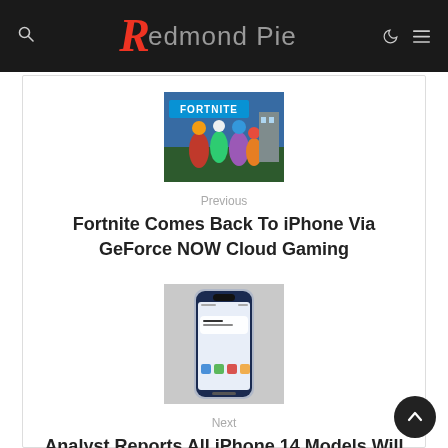Redmond Pie
[Figure (screenshot): Fortnite game thumbnail image]
Previous
Fortnite Comes Back To iPhone Via GeForce NOW Cloud Gaming
[Figure (photo): iPhone 14 smartphone photo]
Next
Analyst Reports All iPhone 14 Models Will